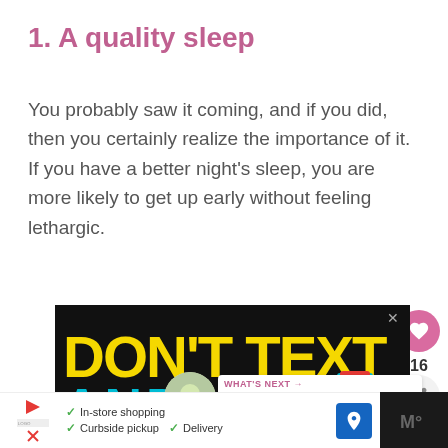1. A quality sleep
You probably saw it coming, and if you did, then you certainly realize the importance of it. If you have a better night's sleep, you are more likely to get up early without feeling lethargic.
[Figure (infographic): Advertisement banner with text 'DON'T TEXT AND' in yellow and teal on black background with cartoon car graphic]
[Figure (infographic): What's Next promo thumbnail showing 21 Healthy Breakfast article with food image]
[Figure (infographic): Bottom banner advertisement for in-store shopping, curbside pickup, and delivery]